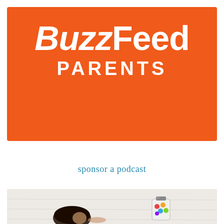[Figure (logo): BuzzFeed Parents logo on orange background with 'BuzzFeed' in bold white italic-style text and 'PARENTS' in large white uppercase letters]
sponsor a podcast
[Figure (photo): Overhead photo of a child lying on a white surface, with a colorful jar visible nearby]